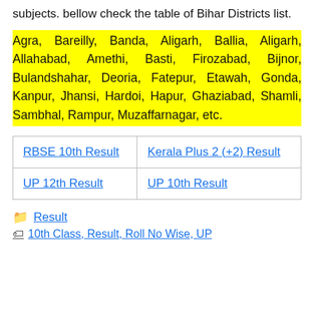subjects. bellow check the table of Bihar Districts list.
Agra, Bareilly, Banda, Aligarh, Ballia, Aligarh, Allahabad, Amethi, Basti, Firozabad, Bijnor, Bulandshahar, Deoria, Fatepur, Etawah, Gonda, Kanpur, Jhansi, Hardoi, Hapur, Ghaziabad, Shamli, Sambhal, Rampur, Muzaffarnagar, etc.
| RBSE 10th Result | Kerala Plus 2 (+2) Result |
| UP 12th Result | UP 10th Result |
Result
10th Class, Result, Roll No Wise, UP